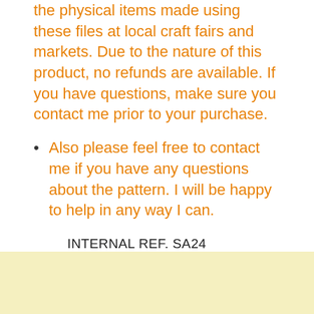the physical items made using these files at local craft fairs and markets. Due to the nature of this product, no refunds are available. If you have questions, make sure you contact me prior to your purchase.
Also please feel free to contact me if you have any questions about the pattern. I will be happy to help in any way I can.
INTERNAL REF. SA24